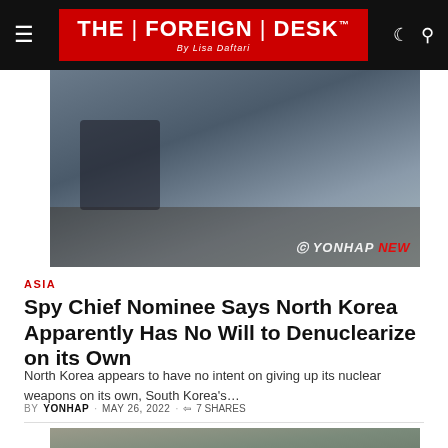THE | FOREIGN | DESK By Lisa Daftari
[Figure (photo): Man in suit at podium with Yonhap News watermark]
ASIA
Spy Chief Nominee Says North Korea Apparently Has No Will to Denuclearize on its Own
North Korea appears to have no intent on giving up its nuclear weapons on its own, South Korea's...
BY YONHAP · MAY 26, 2022 · 7 SHARES
[Figure (photo): Military vehicles or artillery in field]